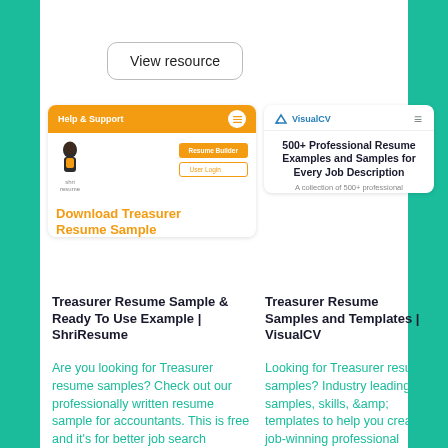[Figure (screenshot): Button labeled 'View resource' with rounded border]
[Figure (screenshot): ShriResume website screenshot showing Help & Support header, logo, Resume Builder and User Login buttons, and orange 'Download Treasurer' heading]
[Figure (screenshot): VisualCV website screenshot showing logo, hamburger menu, bold heading '500+ Professional Resume Examples and Samples for Every Job Description', and subtext 'A collection of 500+ professional']
Treasurer Resume Sample & Ready To Use Example | ShriResume
Treasurer Resume Samples and Templates | VisualCV
Are you looking for Treasurer resume samples? Check out our professionally written resume sample for accountants. This is free and it's for better job search process. Read
Looking for Treasurer resume samples? Industry leading samples, skills, &amp; templates to help you create a job-winning professional resume. Read More...